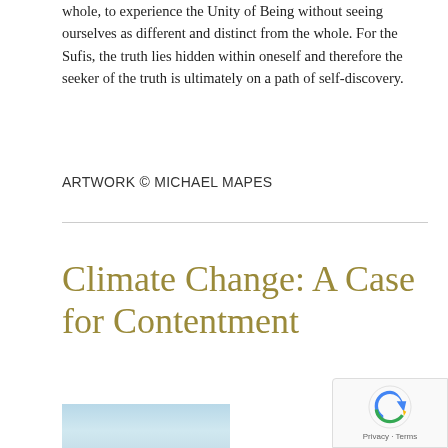whole, to experience the Unity of Being without seeing ourselves as different and distinct from the whole. For the Sufis, the truth lies hidden within oneself and therefore the seeker of the truth is ultimately on a path of self-discovery.
ARTWORK © MICHAEL MAPES
Climate Change: A Case for Contentment
[Figure (photo): Partial image of a landscape or sky, light blue tones, cropped at bottom of page]